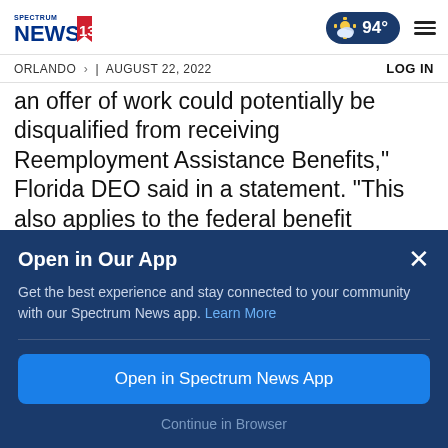Spectrum NEWS 13 | ORLANDO | AUGUST 22, 2022 | 94° | LOG IN
an offer of work could potentially be disqualified from receiving Reemployment Assistance Benefits," Florida DEO said in a statement. "This also applies to the federal benefit programs authorized under the CARES Act and Continued Assistance Act."
Open in Our App
Get the best experience and stay connected to your community with our Spectrum News app. Learn More
Open in Spectrum News App
Continue in Browser